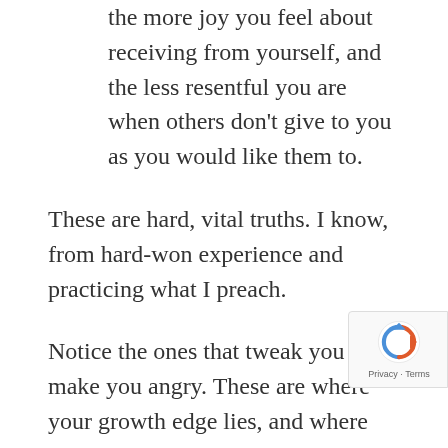the more joy you feel about receiving from yourself, and the less resentful you are when others don't give to you as you would like them to.
These are hard, vital truths. I know, from hard-won experience and practicing what I preach.
Notice the ones that tweak you or make you angry. These are where your growth edge lies, and where you can probably make the biggest progress in the shortest amount of time.
I want your Valentine's Day to be as wonderful